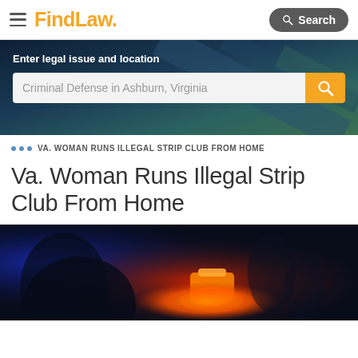FindLaw — Search
[Figure (screenshot): Hero banner with dark blue/teal background and search bar reading 'Criminal Defense in Ashburn, Virginia']
Enter legal issue and location
Criminal Defense in Ashburn, Virginia
... VA. WOMAN RUNS ILLEGAL STRIP CLUB FROM HOME
Va. Woman Runs Illegal Strip Club From Home
[Figure (photo): Dark photo with red and blue lighting, showing silhouette and an orange glowing cylindrical object, suggestive of nightclub atmosphere]